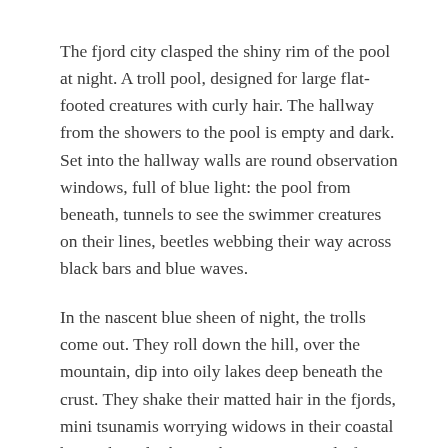The fjord city clasped the shiny rim of the pool at night. A troll pool, designed for large flat-footed creatures with curly hair. The hallway from the showers to the pool is empty and dark. Set into the hallway walls are round observation windows, full of blue light: the pool from beneath, tunnels to see the swimmer creatures on their lines, beetles webbing their way across black bars and blue waves.
In the nascent blue sheen of night, the trolls come out. They roll down the hill, over the mountain, dip into oily lakes deep beneath the crust. They shake their matted hair in the fjords, mini tsunamis worrying widows in their coastal huts. They climb into the 50-meter pool of Toyen Badet, Oslo's public bath, and launch themselves cross-wise against the lengths, jump high and land on their bellies, laugh at the tickle and duck down.